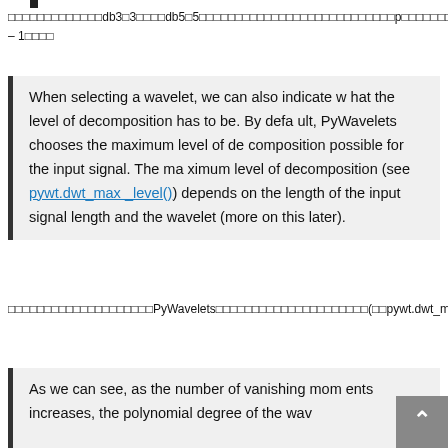□□□□□□□□□□□□□db3□3□□□□db5□5□□□□□□□□□□□□□□□□□□□□□□□□□□□p□□□□□□□□□□p – 1□□□□
When selecting a wavelet, we can also indicate what the level of decomposition has to be. By default, PyWavelets chooses the maximum level of decomposition possible for the input signal. The maximum level of decomposition (see pywt.dwt_max_level()) depends on the length of the input signal length and the wavelet (more on this later).
□□□□□□□□□□□□□□□□□□□□PyWavelets□□□□□□□□□□□□□□□□□□□□(□□pywt.dwt_max_level())□□□□□□□□□□□□□□□
As we can see, as the number of vanishing moments increases, the polynomial degree of the wav